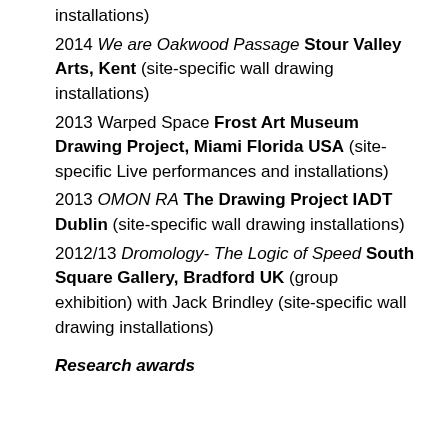installations)
2014 We are Oakwood Passage Stour Valley Arts, Kent (site-specific wall drawing installations)
2013 Warped Space Frost Art Museum Drawing Project, Miami Florida USA (site-specific Live performances and installations)
2013 OMON RA The Drawing Project IADT Dublin (site-specific wall drawing installations)
2012/13 Dromology- The Logic of Speed South Square Gallery, Bradford UK (group exhibition) with Jack Brindley (site-specific wall drawing installations)
Research awards